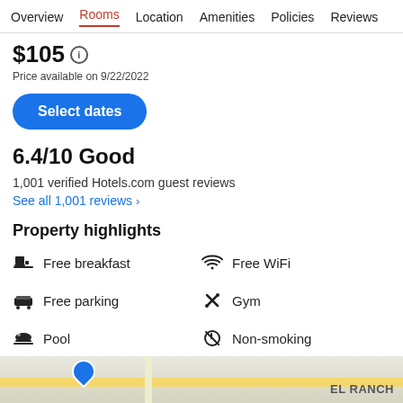Overview  Rooms  Location  Amenities  Policies  Reviews
$105
Price available on 9/22/2022
Select dates
6.4/10 Good
1,001 verified Hotels.com guest reviews
See all 1,001 reviews  >
Property highlights
Free breakfast
Free WiFi
Free parking
Gym
Pool
Non-smoking
See all  >
[Figure (map): Street map showing hotel location with blue pin; road label EL RANCH visible in lower right.]